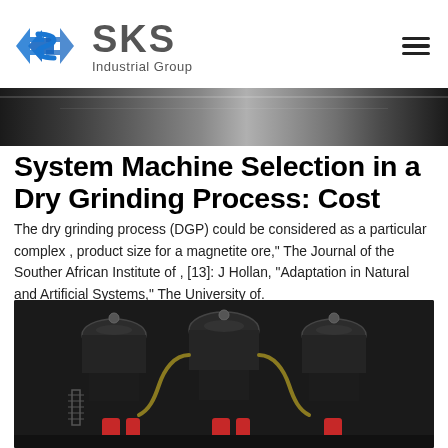[Figure (logo): SKS Industrial Group logo with diamond-shaped blue icon and gray text]
[Figure (photo): Top banner photo of industrial metal machinery, dark metallic tones]
System Machine Selection in a Dry Grinding Process: Cost
The dry grinding process (DGP) could be considered as a particular complex , product size for a magnetite ore," The Journal of the Souther African Institute of , [13]: J Hollan, "Adaptation in Natural and Artificial Systems," The University of.
[Figure (photo): Bottom photo of heavy industrial grinding machine components with black metal parts and red accents]